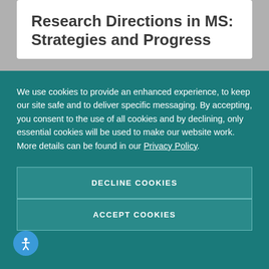Research Directions in MS: Strategies and Progress
We use cookies to provide an enhanced experience, to keep our site safe and to deliver specific messaging. By accepting, you consent to the use of all cookies and by declining, only essential cookies will be used to make our website work. More details can be found in our Privacy Policy.
DECLINE COOKIES
ACCEPT COOKIES